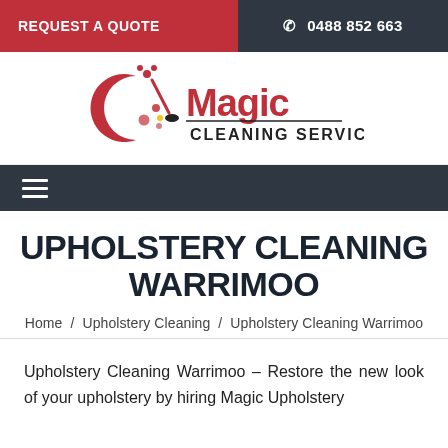REQUEST A QUOTE  ☎ 0488 852 663
[Figure (logo): Magic Cleaning Services logo with crescent moon, cleaning brush, bubbles and flower graphic in red and black]
[Figure (other): Dark navigation bar with hamburger menu icon]
UPHOLSTERY CLEANING WARRIMOO
Home / Upholstery Cleaning / Upholstery Cleaning Warrimoo
Upholstery Cleaning Warrimoo – Restore the new look of your upholstery by hiring Magic Upholstery